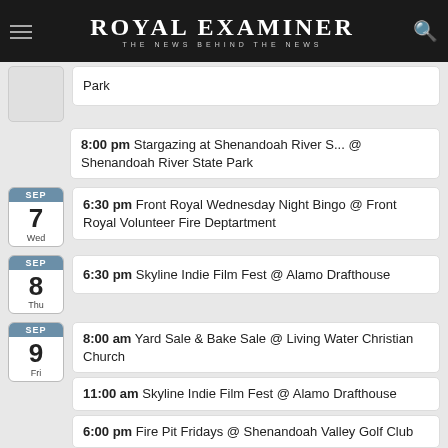ROYAL EXAMINER — THE NEWS BEHIND THE NEWS
Park
8:00 pm Stargazing at Shenandoah River S... @ Shenandoah River State Park
SEP 7 Wed — 6:30 pm Front Royal Wednesday Night Bingo @ Front Royal Volunteer Fire Deptartment
SEP 8 Thu — 6:30 pm Skyline Indie Film Fest @ Alamo Drafthouse
SEP 9 Fri — 8:00 am Yard Sale & Bake Sale @ Living Water Christian Church
11:00 am Skyline Indie Film Fest @ Alamo Drafthouse
6:00 pm Fire Pit Fridays @ Shenandoah Valley Golf Club
SEP 10 — 8:00 am Yard Sale & Bake Sale @ Living Water